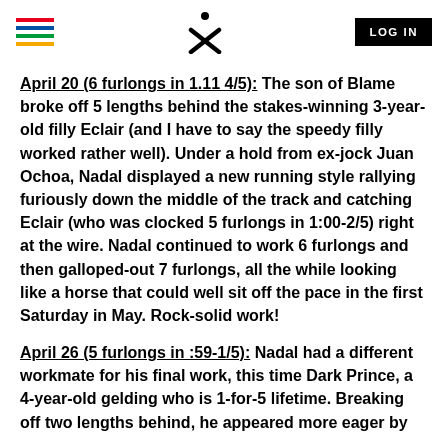[Logo/Navigation bar with hamburger menu, X logo, and LOG IN button]
April 20 (6 furlongs in 1.11 4/5): The son of Blame broke off 5 lengths behind the stakes-winning 3-year-old filly Eclair (and I have to say the speedy filly worked rather well). Under a hold from ex-jock Juan Ochoa, Nadal displayed a new running style rallying furiously down the middle of the track and catching Eclair (who was clocked 5 furlongs in 1:00-2/5) right at the wire. Nadal continued to work 6 furlongs and then galloped-out 7 furlongs, all the while looking like a horse that could well sit off the pace in the first Saturday in May. Rock-solid work!
April 26 (5 furlongs in :59-1/5): Nadal had a different workmate for his final work, this time Dark Prince, a 4-year-old gelding who is 1-for-5 lifetime. Breaking off two lengths behind, he appeared more eager by